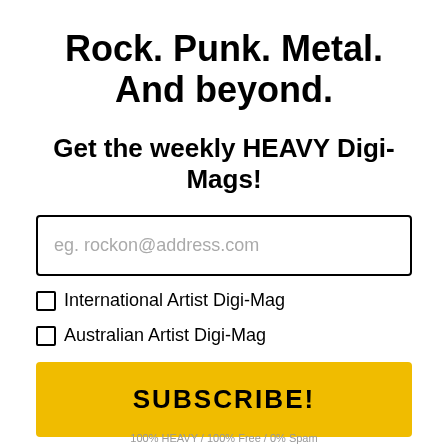Rock. Punk. Metal. And beyond.
Get the weekly HEAVY Digi-Mags!
eg. rockon@address.com
International Artist Digi-Mag
Australian Artist Digi-Mag
SUBSCRIBE!
100% HEAVY / 100% Free / 0% Spam